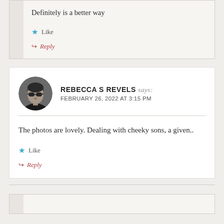Definitely is a better way
★ Like
↪ Reply
REBECCA S REVELS says: FEBRUARY 26, 2022 AT 3:15 PM
[Figure (photo): Avatar photo of Rebecca S Revels — a woman with sunglasses in black and white circular photo]
The photos are lovely. Dealing with cheeky sons, a given..
★ Like
↪ Reply